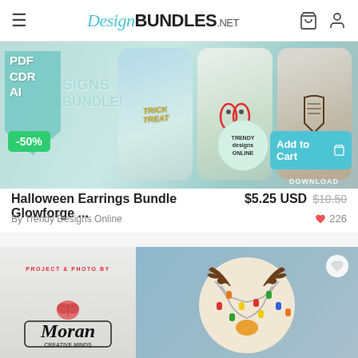DesignBUNDLES.net
[Figure (photo): Halloween Earrings Bundle product image showing trick or treat earrings, flip flop earrings, and coffin earrings with PDF CDR AI format badges, -50% discount badge, Add to Cart button, and Trendy Designs Online watermark]
Halloween Earrings Bundle Glowforge ...   $5.25 USD   $10.50
By Trendy Designs Online   ♥ 226
[Figure (photo): Christmas reindeer round door sign with colorful lights, beside a Project & Photo by Moran Creative Minds logo on white wood background]